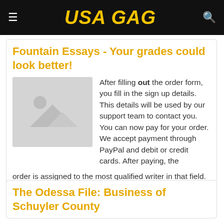USA GAG
Fountain Essays - Your grades could look better!
[Figure (illustration): Placeholder image with mountain and sun silhouette on grey background]
After filling out the order form, you fill in the sign up details. This details will be used by our support team to contact you. You can now pay for your order. We accept payment through PayPal and debit or credit cards. After paying, the order is assigned to the most qualified writer in that field. The writer researches and then submits your ...
Read more
The Odessa File: Business of Schuyler County